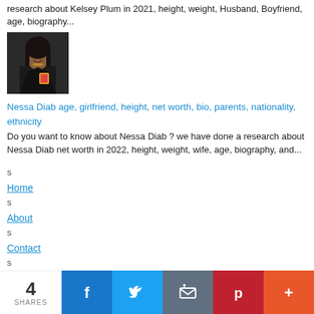research about Kelsey Plum in 2021, height, weight, Husband, Boyfriend, age, biography...
[Figure (photo): Photo of Nessa Diab, a woman with long dark hair wearing a dark jacket with jewelry]
Nessa Diab age, girlfriend, height, net worth, bio, parents, nationality, ethnicity
Do you want to know about Nessa Diab ? we have done a research about Nessa Diab net worth in 2022, height, weight, wife, age, biography, and...
s
Home
s
About
s
Contact
s
Advertise
[Figure (infographic): Social share bar with count 4 SHARES, and buttons for Facebook, Twitter, Email, Pinterest, and More]